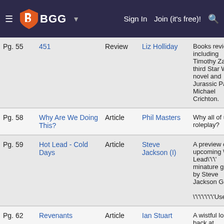BGG — Sign In  Join (it's free)!
| Page | Title | Type | Author | Description |  |
| --- | --- | --- | --- | --- | --- |
| Pg. 55 | 451 | Review | Liz Holliday | Books reviews, including Timothy Zahn\'s third Star Wars novel and Jurassic Park by Michael Crichton. | Edit |
| Pg. 58 | Why Are We Doing This? | Article | Phil Masters | Why all of us roleplay? | Edit |
| Pg. 59 | Hot Lead - Cold Days | Article | Steve Jackson (I) | A preview of the upcoming \'\'\'Hot Lead\'\'\'  minature game by Steve Jackson Games. \'\'\'\'\'\'\'User | Edit |
| Pg. 62 | Revenants | Article | Ian Stuart | A wistful look back at \'\'\'Chivalry and Sorcery\'\'\'. | Edit |